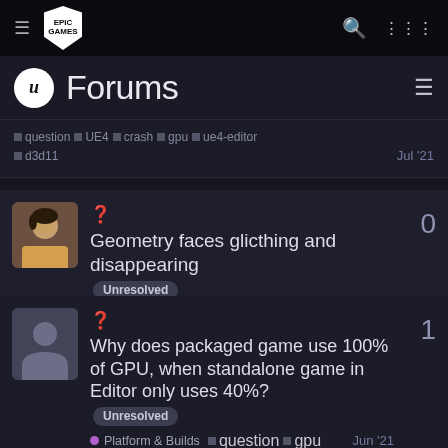Epic Games Forums
question UE4 crash gpu ue4-editor d3d11 — Jul '21
? Geometry faces glicthing and disappearing [Unresolved] — 0 replies — Community & Indus... — question gpu glitch geometry — Jun '21
? Why does packaged game use 100% of GPU, when standalone game in Editor only uses 40%? [Unresolved] — 1 reply — Platform & Builds — question gpu — Jun '21